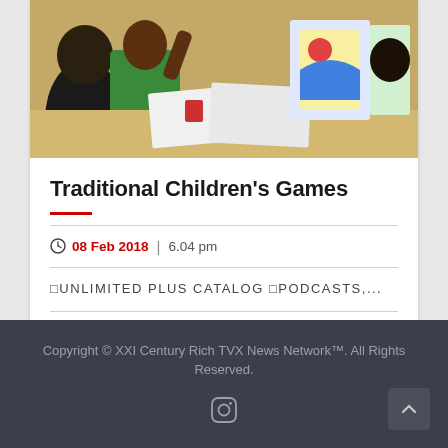[Figure (photo): Children at a table doing art activities, colorful drawings visible in background]
Traditional Children’s Games
08 Feb 2018  |  6.04 pm
☐UNLIMITED PLUS CATALOG ☐PODCASTS,...
CONTINUE READING
Copyright © XXI Century Rich TVX News Network™. All Rights Reserved.